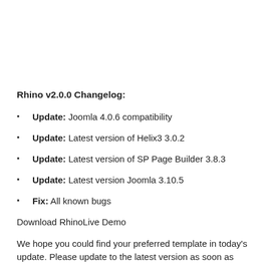Rhino v2.0.0 Changelog:
Update: Joomla 4.0.6 compatibility
Update: Latest version of Helix3 3.0.2
Update: Latest version of SP Page Builder 3.8.3
Update: Latest version Joomla 3.10.5
Fix: All known bugs
Download RhinoLive Demo
We hope you could find your preferred template in today's update. Please update to the latest version as soon as